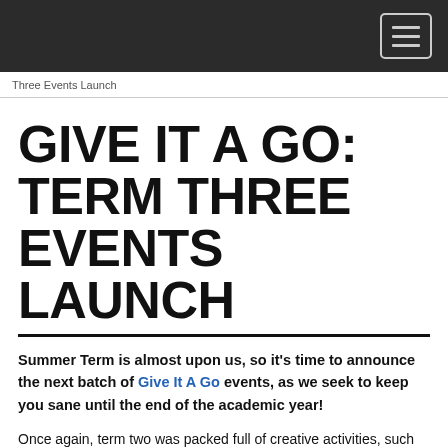Three Events Launch
GIVE IT A GO: TERM THREE EVENTS LAUNCH
Summer Term is almost upon us, so it's time to announce the next batch of Give It A Go events, as we seek to keep you sane until the end of the academic year!
Once again, term two was packed full of creative activities, such as Mug & Wine Glass Decorating and Disney Colouring In. It wouldn't be Give It A Go without Pets as Therapy (we love the doggos!), while our Crafternoons saw you decorate